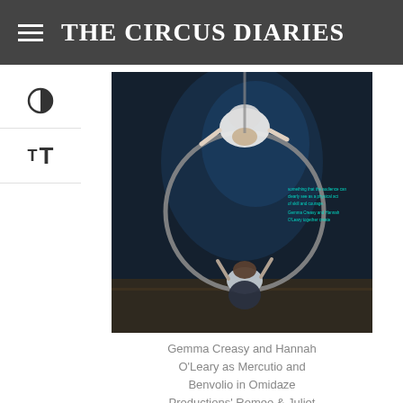THE CIRCUS DIARIES
[Figure (photo): Two acrobats performing on an aerial hoop (lyra) suspended from above, photographed from below in dramatic theatrical lighting. One performer is at the top of the hoop, one at the bottom.]
Gemma Creasy and Hannah O'Leary as Mercutio and Benvolio in Omidaze Productions' Romeo & Juliet
I can recognise that these aerial devices produce a Brechtian distancing effect, stylistically fitting with the visible costume